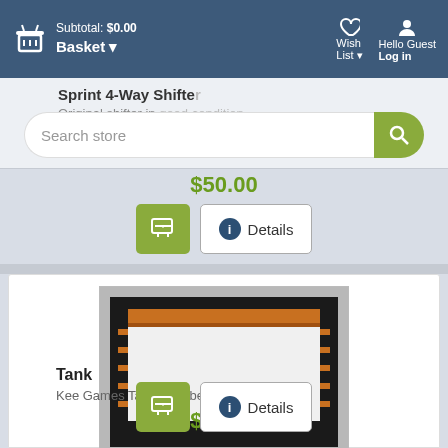Subtotal: $0.00 Basket ▾  Wish List ▾  Hello Guest Log in
Sprint 4-Way Shifter
Original shifter in good condition.
$50.00
[Figure (screenshot): Green add-to-cart button and Details button for Sprint 4-Way Shifter]
[Figure (photo): Photo of Kee Games Tank plexi bezel — a square white panel in a black frame with wiring visible]
Tank
Kee Games Tank plexi bezel
$60.00
[Figure (screenshot): Green add-to-cart button and Details button for Tank]